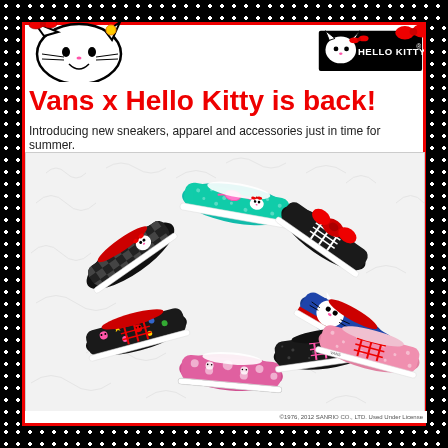[Figure (illustration): Hello Kitty character face illustration at top left with bow]
[Figure (logo): Hello Kitty official logo with red bow at top right]
Vans x Hello Kitty is back!
Introducing new sneakers, apparel and accessories just in time for summer.
[Figure (photo): Eight Vans x Hello Kitty sneakers arranged in a circular pattern on a white fur background. Styles include: black/white polka dot slip-on, blue with Hello Kitty pattern slip-on, black with red bow lace-up, navy/red with Hello Kitty slip-on, black/red floral lace-up, pink/black floral slip-on, black glitter with pink laces lace-up, and pink speckle lace-up.]
©1976, 2012 SANRIO CO., LTD. Used Under License